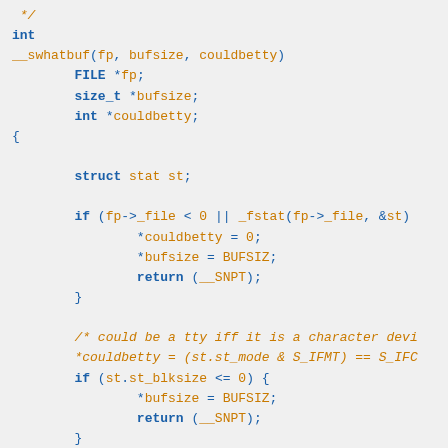C source code snippet showing __swhatbuf function definition with FILE *fp, size_t *bufsize, int *couldbetty parameters; struct stat st; conditional checks on fp->_file and st.st_blksize with assignments and returns